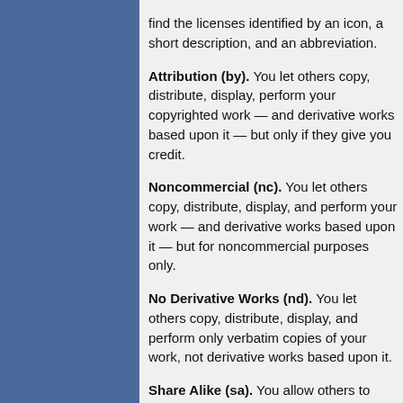find the licenses identified by an icon, a short description, and an abbreviation.
Attribution (by). You let others copy, distribute, display, perform your copyrighted work — and derivative works based upon it — but only if they give you credit.
Noncommercial (nc). You let others copy, distribute, display, and perform your work — and derivative works based upon it — but for noncommercial purposes only.
No Derivative Works (nd). You let others copy, distribute, display, and perform only verbatim copies of your work, not derivative works based upon it.
Share Alike (sa). You allow others to distribute derivative works only under a license identical to the license that governs your work.
Note: Mix and match the features that best suit your needs, but note that a license cannot feature both the Share Alike and No Derivative Works options. The Share Alike requirement applies only to derivative works.
Six Main Licenses
At http://creativecommons.org/license/meet-th…